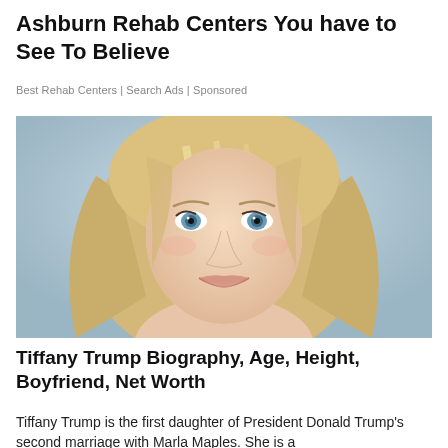Ashburn Rehab Centers You have to See To Believe
Best Rehab Centers | Search Ads | Sponsored
[Figure (photo): Portrait photo of a young blonde woman with blue eyes, smiling, with wavy hair, against a light blue-grey background.]
Tiffany Trump Biography, Age, Height, Boyfriend, Net Worth
Tiffany Trump is the first daughter of President Donald Trump's second marriage with Marla Maples. She is a